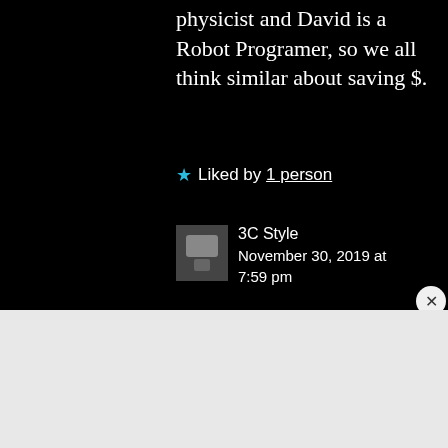physicist and David is a Robot Programer, so we all think similar about saving $.
★ Liked by 1 person
3C Style
November 30, 2019 at 7:59 pm
[Figure (photo): Small avatar photo for user 3C Style]
Advertisement
Search, browse, and email with more privacy. All in One Free App
[Figure (logo): DuckDuckGo app logo and phone mockup advertisement]